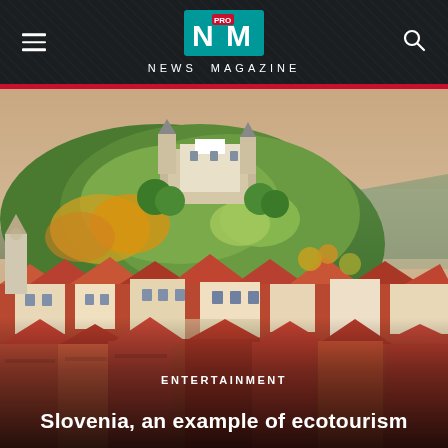NEWS MAGAZINE
[Figure (photo): Aerial view of Ljubljana, Slovenia, showing the castle on a forested hill surrounded by the old town with terracotta rooftops and mountains in the background.]
ENTERTAINMENT
Slovenia, an example of ecotourism